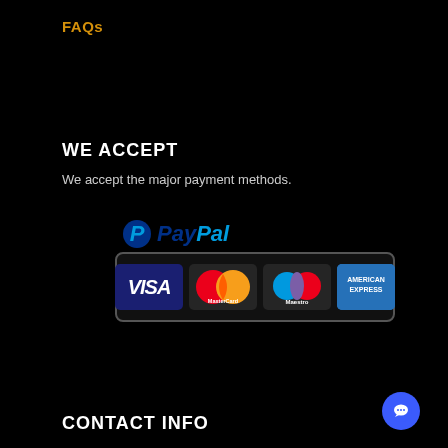FAQs
WE ACCEPT
We accept the major payment methods.
[Figure (logo): PayPal accepted payment methods badge showing PayPal logo above a dark box containing VISA, MasterCard, Maestro, and American Express card logos]
CONTACT INFO